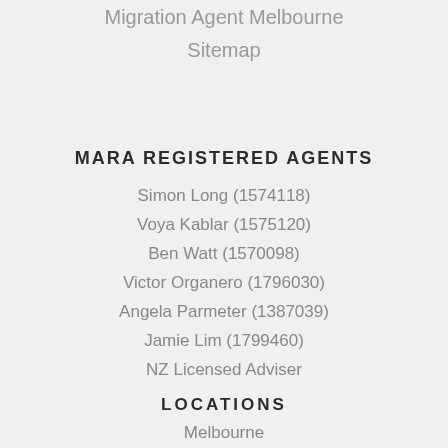Migration Agent Melbourne
Sitemap
MARA REGISTERED AGENTS
Simon Long (1574118)
Voya Kablar (1575120)
Ben Watt (1570098)
Victor Organero (1796030)
Angela Parmeter (1387039)
Jamie Lim (1799460)
NZ Licensed Adviser
LOCATIONS
Melbourne
Canberra
[Figure (illustration): Green circular phone/call button icon in the bottom right corner]